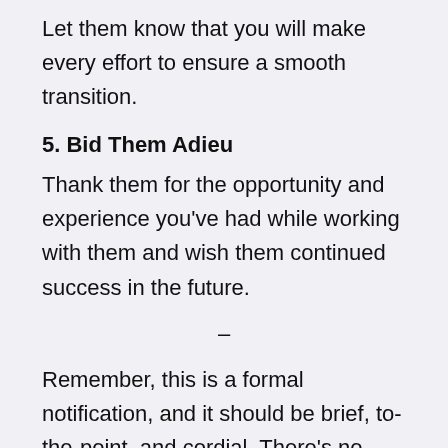Let them know that you will make every effort to ensure a smooth transition.
5. Bid Them Adieu
Thank them for the opportunity and experience you've had while working with them and wish them continued success in the future.
–
Remember, this is a formal notification, and it should be brief, to-the-point, and cordial. There's no reason for emotions to enter the picture – especially negative ones. You never know when you might need someone to write you a